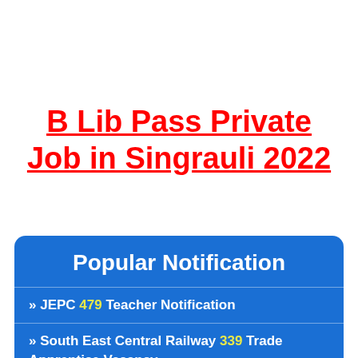B Lib Pass Private Job in Singrauli 2022
Popular Notification
» JEPC 479 Teacher Notification
» South East Central Railway 339 Trade Apprentice Vacancy